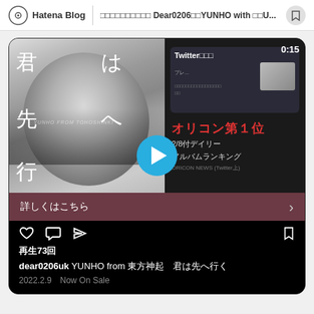Hatena Blog | □□□□□□□□□□ Dear0206□□YUNHO with □□U...
[Figure (screenshot): Instagram/blog post screenshot showing a music video thumbnail for YUNHO from 東方神起 - 君は先へ行く, with Japanese text overlay, a Twitter embed showing Oricon #1 ranking, a play button, detail bar saying 詳しくはこちら, social action icons, play count 再生73回, caption dear0206uk YUNHO from 東方神起 君は先へ行く, and date 2022.2.9 Now On Sale]